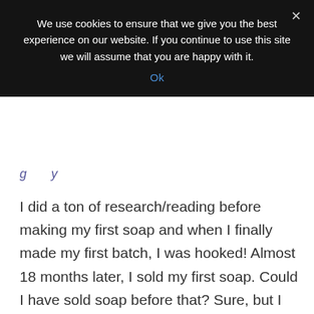We use cookies to ensure that we give you the best experience on our website. If you continue to use this site we will assume that you are happy with it.
Ok
I did a ton of research/reading before making my first soap and when I finally made my first batch, I was hooked! Almost 18 months later, I sold my first soap. Could I have sold soap before that? Sure, but I wanted to know that I could consistently produce a quality product, not to mention getting liability insurance, and other business requirements in place. I still have bars of my first soaps and they are fine. Not nearly as nice as